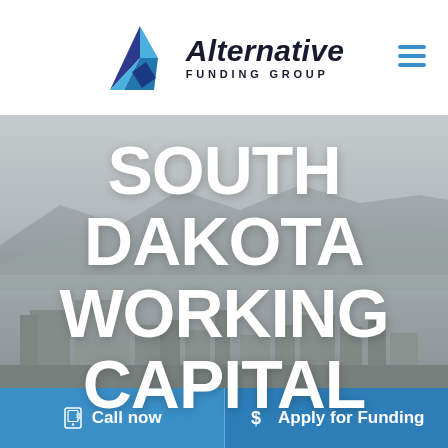[Figure (logo): Alternative Funding Group logo — geometric triangular 'A' icon in shades of navy and light blue, with company name 'Alternative FUNDING GROUP' in bold dark text]
SOUTH DAKOTA WORKING CAPITAL
[Figure (photo): Greyscale cityscape photo showing a city with mountains in the background under an overcast sky]
Call now
Apply for Funding